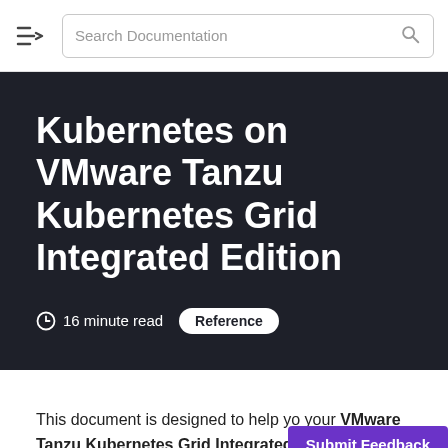[Figure (screenshot): Navigation bar with hamburger/arrow menu icon and search documentation input box with magnifying glass icon]
Kubernetes on VMware Tanzu Kubernetes Grid Integrated Edition
16 minute read   Reference
This document is designed to help yo your VMware Tanzu Kubernetes Grid Integrated
[Figure (other): Submit Feedback button (purple)]